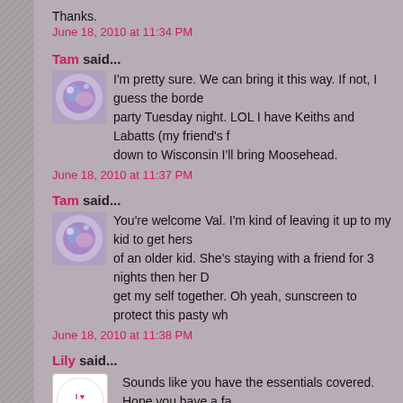Thanks.
June 18, 2010 at 11:34 PM
Tam said...
I'm pretty sure. We can bring it this way. If not, I guess the border... party Tuesday night. LOL I have Keiths and Labatts (my friend's f... down to Wisconsin I'll bring Moosehead.
June 18, 2010 at 11:37 PM
Tam said...
You're welcome Val. I'm kind of leaving it up to my kid to get hers... of an older kid. She's staying with a friend for 3 nights then her D... get my self together. Oh yeah, sunscreen to protect this pasty wh...
June 18, 2010 at 11:38 PM
Lily said...
Sounds like you have the essentials covered. Hope you have a fa...
I really liked Stephani's book and have the other on my TBR.
Have a great weekend!